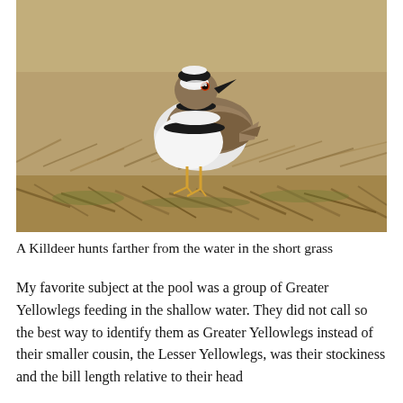[Figure (photo): A Killdeer bird standing on short dry grass. The bird has distinctive black and white banding on its breast and neck, a brown back, and white underparts. The background is blurred dry golden-brown grass.]
A Killdeer hunts farther from the water in the short grass
My favorite subject at the pool was a group of Greater Yellowlegs feeding in the shallow water. They did not call so the best way to identify them as Greater Yellowlegs instead of their smaller cousin, the Lesser Yellowlegs, was their stockiness and the bill length relative to their head size. In my experience, the capabilities [text continues beyond page]